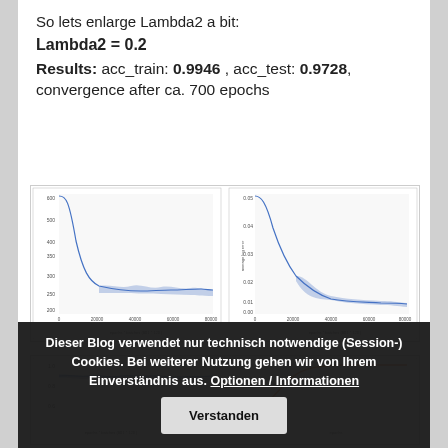So lets enlarge Lambda2 a bit:
Lambda2 = 0.2
Results: acc_train: 0.9946 , acc_test: 0.9728, convergence after ca. 700 epochs
[Figure (continuous-plot): Two side-by-side line/area charts (blue) showing training curves over epochs * batches. Left chart shows loss decreasing from ~600 to ~250. Right chart shows average log error decreasing from ~0.05 to ~0.01.]
[Figure (continuous-plot): Two side-by-side charts partially visible: left shows blue noisy signal near 0.8-1.0, right shows orange accuracy curve rising toward 1.00.]
Dieser Blog verwendet nur technisch notwendige (Session-) Cookies. Bei weiterer Nutzung gehen wir von Ihrem Einverständnis aus. Optionen / Informationen